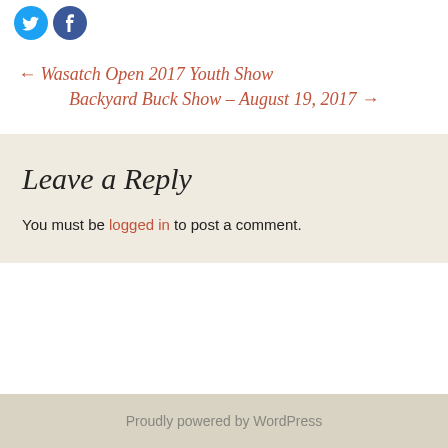[Figure (illustration): Two circular social media share buttons — Twitter (blue bird) and Facebook (blue f) — partially visible at the top of the page]
← Wasatch Open 2017 Youth Show
Backyard Buck Show – August 19, 2017 →
Leave a Reply
You must be logged in to post a comment.
Proudly powered by WordPress